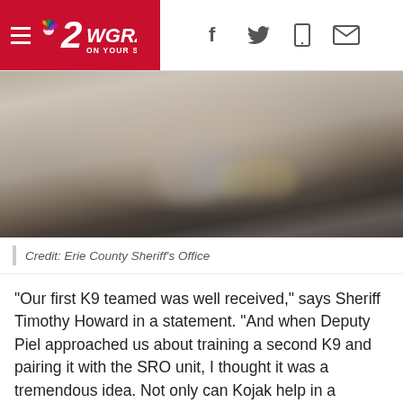2WGRZ ON YOUR SIDE
[Figure (photo): Blurred/pixelated image of what appears to be a person or dog on a floor, credit to Erie County Sheriff's Office]
Credit: Erie County Sheriff's Office
“Our first K9 teamed was well received,” says Sheriff Timothy Howard in a statement. “And when Deputy Piel approached us about training a second K9 and pairing it with the SRO unit, I thought it was a tremendous idea. Not only can Kojak help in a traumatic situation, but he can help eliminate any anxiety of a student speaking to the SRO